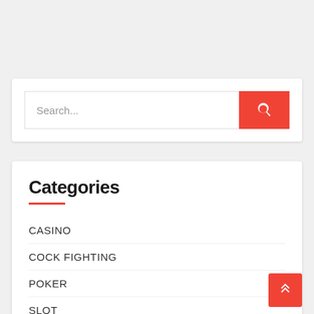Search...
Categories
CASINO
COCK FIGHTING
POKER
SLOT